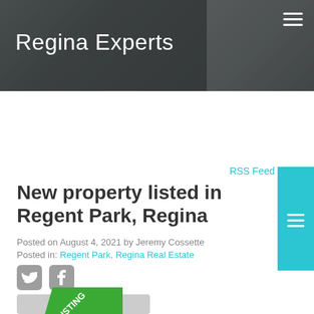[Figure (photo): Website header banner showing a modern kitchen/living room interior, dark overlay, with 'Regina Experts' title and hamburger menu icon]
New property listed in Regent Park, Regina
Posted on August 4, 2021 by Jeremy Cossette
Posted in: Regent Park, Regina Real Estate
[Figure (other): Twitter and Facebook social share icons (grey rounded square buttons)]
[Figure (photo): Partial view of a property listing photo with a green 'NEW LISTING' banner overlay and a camera icon placeholder]